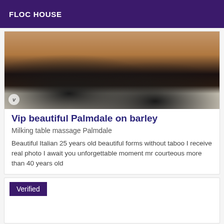FLOC HOUSE
[Figure (photo): Close-up photo of legs wearing black stockings and high heels on a white fur rug]
Vip beautiful Palmdale on barley
Milking table massage Palmdale
Beautiful Italian 25 years old beautiful forms without taboo I receive real photo I await you unforgettable moment mr courteous more than 40 years old
Verified